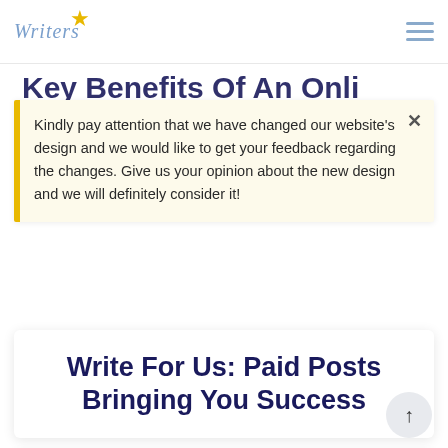Writers (logo with star)
Key Benefits Of An Onli... (partially visible heading behind popup)
Kindly pay attention that we have changed our website's design and we would like to get your feedback regarding the changes. Give us your opinion about the new design and we will definitely consider it!
Write For Us: Paid Posts Bringing You Success
Best Custom Writers Are Waiting For You Here!